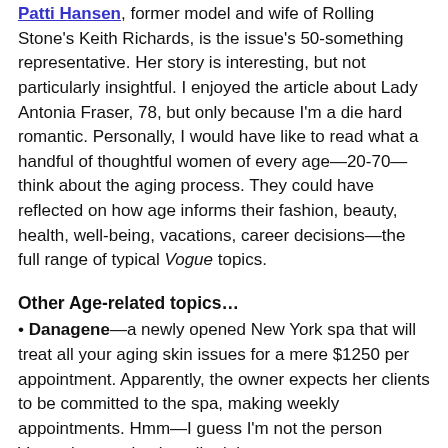Patti Hansen, former model and wife of Rolling Stone's Keith Richards, is the issue's 50-something representative. Her story is interesting, but not particularly insightful. I enjoyed the article about Lady Antonia Fraser, 78, but only because I'm a die hard romantic. Personally, I would have like to read what a handful of thoughtful women of every age—20-70—think about the aging process. They could have reflected on how age informs their fashion, beauty, health, well-being, vacations, career decisions—the full range of typical Vogue topics.
Other Age-related topics…
Danagene—a newly opened New York spa that will treat all your aging skin issues for a mere $1250 per appointment. Apparently, the owner expects her clients to be committed to the spa, making weekly appointments. Hmm—I guess I'm not the person Vogue is targeting its editorial to.
Up Front – A May-December romance (the woman is the 'December') is described. Haven't we heard/read enough about these relationships?
Desk Set – What working women of various ages wear to work. Mildly interesting.